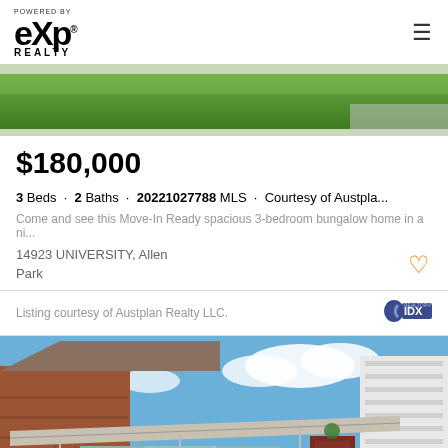POWERED BY eXp REALTY
[Figure (photo): Top portion of exterior photo showing green lawn and driveway edge]
$180,000
3 Beds · 2 Baths · 20221027788 MLS · Courtesy of Austpla...
Come and see this Move-In Ready spacious 3-bedroom bungalow home in a ni...
14923 UNIVERSITY, Allen Park
Listing courtesy of Austplan Realty LLC.
[Figure (photo): Exterior photo of brick bungalow home with covered front porch, awning, bay window, and blue sky with clouds]